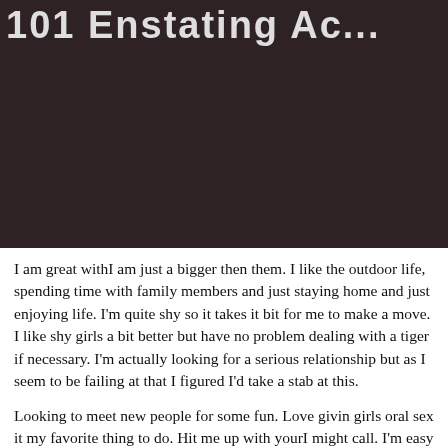[Figure (photo): Dark brownish-black photo background with partial white bold text visible at the top reading a truncated heading (appears to be a profile page header). The image is dark and moody.]
I am great withI am just a bigger then them. I like the outdoor life, spending time with family members and just staying home and just enjoying life. I'm quite shy so it takes it bit for me to make a move. I like shy girls a bit better but have no problem dealing with a tiger if necessary. I'm actually looking for a serious relationship but as I seem to be failing at that I figured I'd take a stab at this.
Looking to meet new people for some fun. Love givin girls oral sex it my favorite thing to do. Hit me up with yourI might call. I'm easy to get along with. I've got 2 tattoos, and i love to party. Grew